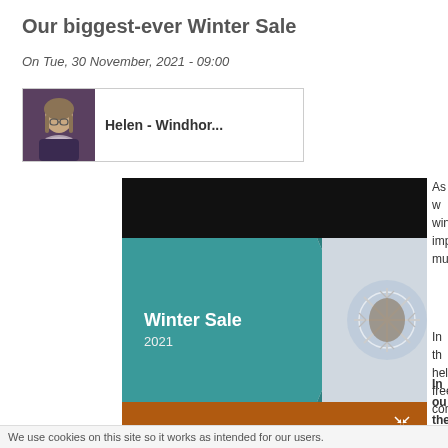Our biggest-ever Winter Sale
On Tue, 30 November, 2021 - 09:00
Helen - Windhor...
[Figure (screenshot): Winter Sale 2021 presentation slide with teal diagonal design and snowflake photo, plus orange footer bar with expand icon]
As w... winte... impo... much...
In th... help... freem... cont...
In ou... them...
We use cookies on this site so it works as intended for our users.